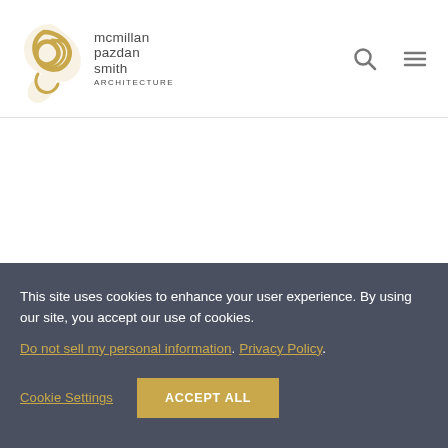mcmillan pazdan smith ARCHITECTURE
This site uses cookies to enhance your user experience. By using our site, you accept our use of cookies.
Do not sell my personal information. Privacy Policy.
Cookie Settings  ACCEPT ALL